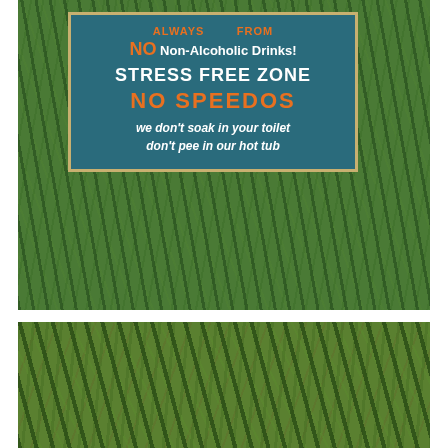[Figure (photo): Photograph of a teal/blue wooden sign placed in grass. Sign reads: ALWAYS [something] FROM / NO Non-Alcoholic Drinks! / STRESS FREE ZONE / NO SPEEDOS / we don't soak in your toilet / don't pee in our hot tub. Text alternates between white and orange. Sign has a tan/gold border. Background is green lawn grass.]
[Figure (photo): Close-up photograph of green grass/lawn, showing blades of grass in various shades of green and some yellowing.]